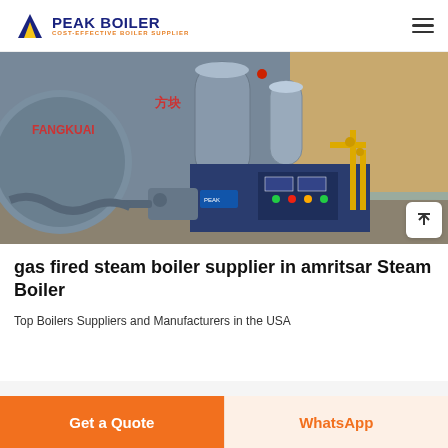PEAK BOILER COST-EFFECTIVE BOILER SUPPLIER
[Figure (photo): Industrial gas fired steam boiler installed in a facility. The boiler equipment is dark blue/grey, manufactured by Fangkuai, shown with yellow gas pipes and industrial fittings in the background.]
gas fired steam boiler supplier in amritsar Steam Boiler
Top Boilers Suppliers and Manufacturers in the USA